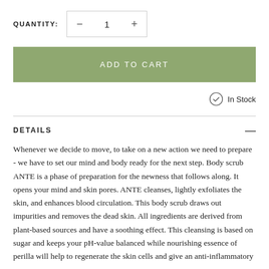QUANTITY: — 1 +
ADD TO CART
In Stock
DETAILS
Whenever we decide to move, to take on a new action we need to prepare - we have to set our mind and body ready for the next step. Body scrub ANTE is a phase of preparation for the newness that follows along. It opens your mind and skin pores. ANTE cleanses, lightly exfoliates the skin, and enhances blood circulation. This body scrub draws out impurities and removes the dead skin. All ingredients are derived from plant-based sources and have a soothing effect. This cleansing is based on sugar and keeps your pH-value balanced while nourishing essence of perilla will help to regenerate the skin cells and give an anti-inflammatory